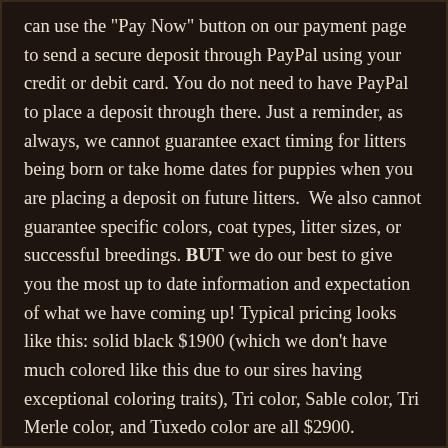can use the "Pay Now" button on our payment page to send a secure deposit through PayPal using your credit or debit card. You do not need to have PayPal to place a deposit through there. Just a reminder, as always, we cannot guarantee exact timing for litters being born or take home dates for puppies when you are placing a deposit on future litters.  We also cannot guarantee specific colors, coat types, litter sizes, or successful breedings. BUT we do our best to give you the most up to date information and expectation of what we have coming up! Typical pricing looks like this: solid black $1900 (which we don't have much colored like this due to our sires having exceptional coloring traits), Tri color, Sable color, Tri Merle color, and Tuxedo color are all $2900.